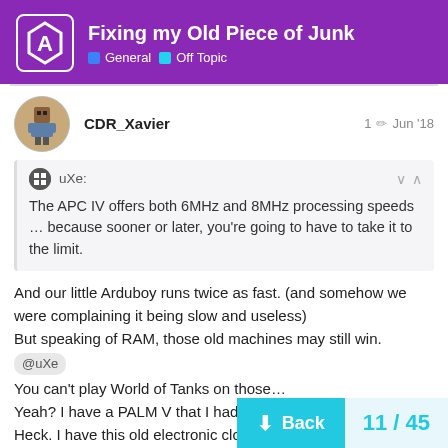Fixing my Old Piece of Junk — General · Off Topic
CDR_Xavier  1  Jun '18
uXe: The APC IV offers both 6MHz and 8MHz processing speeds … because sooner or later, you're going to have to take it to the limit.
And our little Arduboy runs twice as fast. (and somehow we were complaining it being slow and useless)
But speaking of RAM, those old machines may still win.
@uXe
You can't play World of Tanks on those…
Yeah? I have a PALM V that I had.
Heck. I have this old electronic clock since
Yes it does.